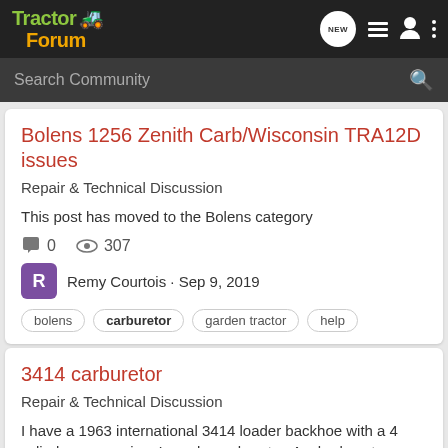Tractor Forum
Bolens 1256 Zenith Carb/Wisconsin TRA12D issues
Repair & Technical Discussion
This post has moved to the Bolens category
0 comments · 307 views
Remy Courtois · Sep 9, 2019
bolens carburetor garden tractor help
3414 carburetor
Repair & Technical Discussion
I have a 1963 international 3414 loader backhoe with a 4 cylinder gas engine. I need a carburetor. Anybody got one